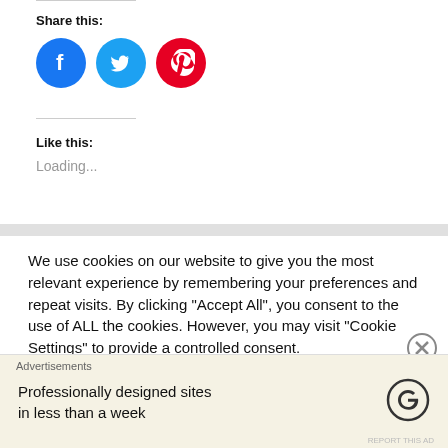Share this:
[Figure (illustration): Three social media icon circles: Facebook (blue), Twitter (blue), Pinterest (red)]
Like this:
Loading...
We use cookies on our website to give you the most relevant experience by remembering your preferences and repeat visits. By clicking “Accept All”, you consent to the use of ALL the cookies. However, you may visit "Cookie Settings" to provide a controlled consent.
Advertisements
Professionally designed sites in less than a week